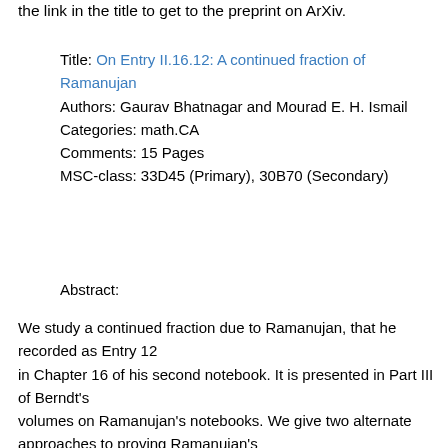the link in the title to get to the preprint on ArXiv.
Title: On Entry II.16.12: A continued fraction of Ramanujan
Authors: Gaurav Bhatnagar and Mourad E. H. Ismail
Categories: math.CA
Comments: 15 Pages
MSC-class: 33D45 (Primary), 30B70 (Secondary)
Abstract:
We study a continued fraction due to Ramanujan, that he recorded as Entry 12 in Chapter 16 of his second notebook. It is presented in Part III of Berndt's volumes on Ramanujan's notebooks. We give two alternate approaches to proving Ramanujan's Entry 12, one using a method of Euler, and another using the theory of orthogonal polynomials. We consider a natural generalization of Entry 12 suggested by the